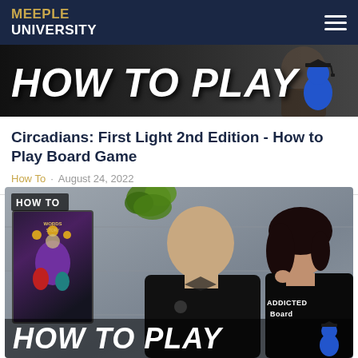MEEPLE UNIVERSITY
[Figure (screenshot): Hero banner image showing 'HOW TO PLAY' text in bold white italic letters on dark background with a blue meeple graduation cap icon on the right, and a person partially visible in the background]
Circadians: First Light 2nd Edition - How to Play Board Game
How To · August 24, 2022
[Figure (screenshot): Thumbnail card showing 'HOW TO' badge in top left, a dark fantasy board game cover art box on the left side, a bald smiling man in a black Meeple University polo shirt in the center, a woman with dark hair in a black t-shirt with 'ADDICTED Board' text on the right, green leaves in the background, and 'HOW TO PLAY' in large bold white italic text at the bottom with a blue meeple icon]